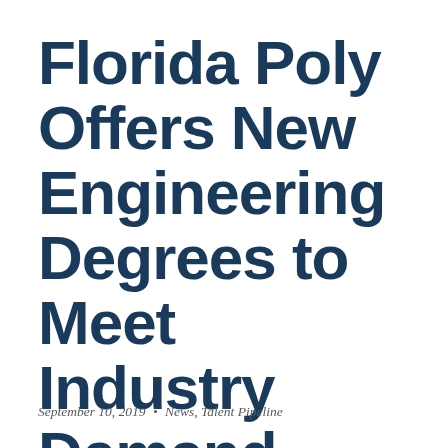Florida Poly Offers New Engineering Degrees to Meet Industry Demand
September 10, 2019 • News, Talent Pipeline